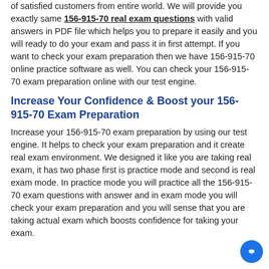of satisfied customers from entire world. We will provide you exactly same 156-915-70 real exam questions with valid answers in PDF file which helps you to prepare it easily and you will ready to do your exam and pass it in first attempt. If you want to check your exam preparation then we have 156-915-70 online practice software as well. You can check your 156-915-70 exam preparation online with our test engine.
Increase Your Confidence & Boost your 156-915-70 Exam Preparation
Increase your 156-915-70 exam preparation by using our test engine. It helps to check your exam preparation and it create real exam environment. We designed it like you are taking real exam, it has two phase first is practice mode and second is real exam mode. In practice mode you will practice all the 156-915-70 exam questions with answer and in exam mode you will check your exam preparation and you will sense that you are taking actual exam which boosts confidence for taking your exam.